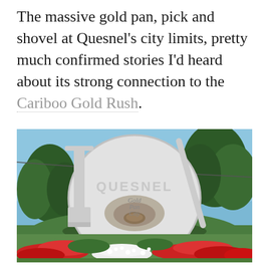The massive gold pan, pick and shovel at Quesnel's city limits, pretty much confirmed stories I'd heard about its strong connection to the Cariboo Gold Rush.
[Figure (photo): A large roadside landmark showing a giant gold pan with the word 'QUESNEL' written across it and 'Gold Pan City' in the center, flanked by a pick and shovel, set on green grass with red and white flower beds in the foreground and trees in the background under a blue sky.]